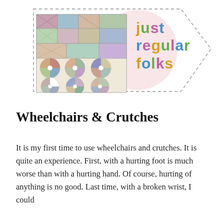[Figure (logo): Just Regular Folks blog logo: a quilt/patchwork image on the left, a pink circle, colorful hand-lettered text reading 'just regular folks' in multiple colors, and a dashed speech bubble arrow shape]
Wheelchairs & Crutches
It is my first time to use wheelchairs and crutches. It is quite an experience. First, with a hurting foot is much worse than with a hurting hand. Of course, hurting of anything is no good. Last time, with a broken wrist, I could